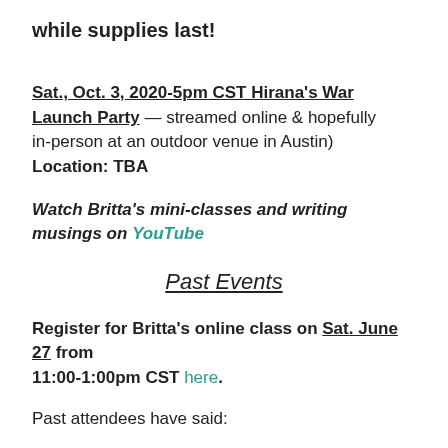while supplies last!
Sat., Oct. 3, 2020-5pm CST Hirana's War Launch Party — streamed online & hopefully in-person at an outdoor venue in Austin) Location: TBA
Watch Britta's mini-classes and writing musings on YouTube
Past Events
Register for Britta's online class on Sat. June 27 from 11:00-1:00pm CST here.
Past attendees have said: